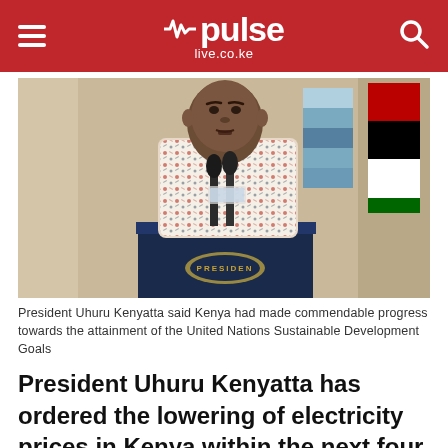pulse live.co.ke
[Figure (photo): President Uhuru Kenyatta speaking at a podium labeled PRESIDEN, wearing a patterned shirt, with microphones and flags visible in the background]
President Uhuru Kenyatta said Kenya had made commendable progress towards the attainment of the United Nations Sustainable Development Goals
President Uhuru Kenyatta has ordered the lowering of electricity prices in Kenya within the next four months.